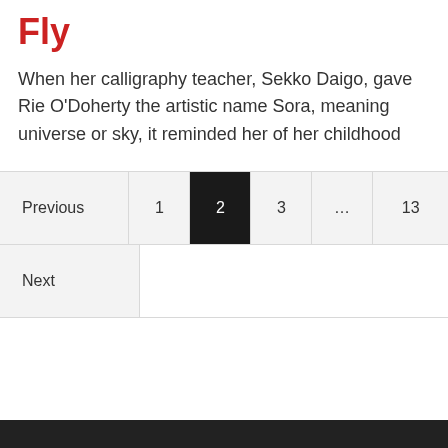Fly
When her calligraphy teacher, Sekko Daigo, gave Rie O'Doherty the artistic name Sora, meaning universe or sky, it reminded her of her childhood
| Previous | 1 | 2 | 3 | ... | 13 |
| Next |